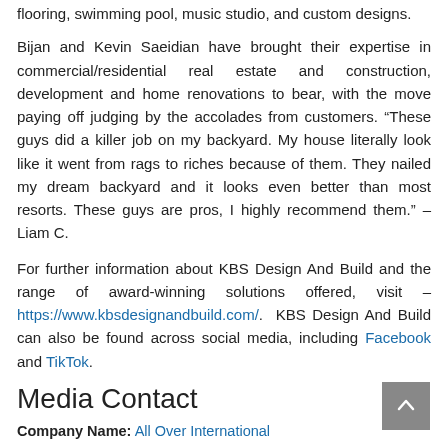flooring, swimming pool, music studio, and custom designs.
Bijan and Kevin Saeidian have brought their expertise in commercial/residential real estate and construction, development and home renovations to bear, with the move paying off judging by the accolades from customers. “These guys did a killer job on my backyard. My house literally look like it went from rags to riches because of them. They nailed my dream backyard and it looks even better than most resorts. These guys are pros, I highly recommend them.” – Liam C.
For further information about KBS Design And Build and the range of award-winning solutions offered, visit – https://www.kbsdesignandbuild.com/. KBS Design And Build can also be found across social media, including Facebook and TikTok.
Media Contact
Company Name: All Over International
Contact Person: Brandon Nguyen
Email: Send Email
Country: United States
Website: https://www.alloverinternational.com/